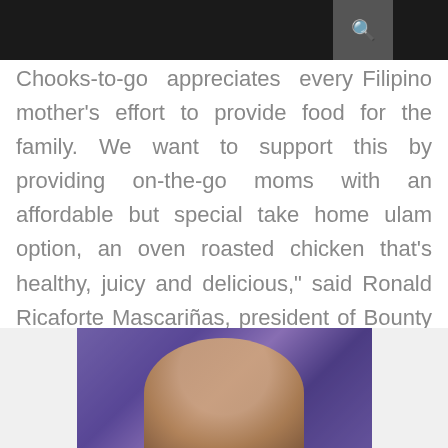Chooks-to-go appreciates every Filipino mother's effort to provide food for the family. We want to support this by providing on-the-go moms with an affordable but special take home ulam option, an oven roasted chicken that's healthy, juicy and delicious," said Ronald Ricaforte Mascariñas, president of Bounty Agro Ventures, Inc. (BAVI)
[Figure (photo): Photo of a person speaking, purple/blue background lighting]